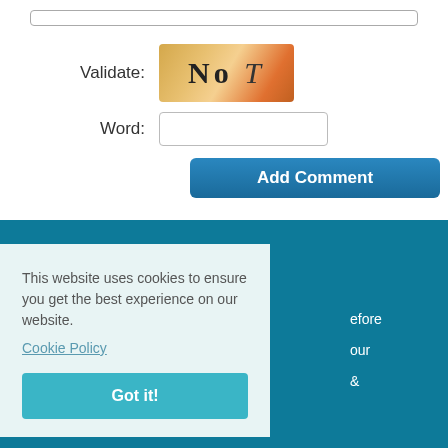[Figure (other): CAPTCHA image with text 'No T' on orange/tan gradient background]
Validate:
Word:
Add Comment
This website uses cookies to ensure you get the best experience on our website.
Cookie Policy
Got it!
efore
our
&